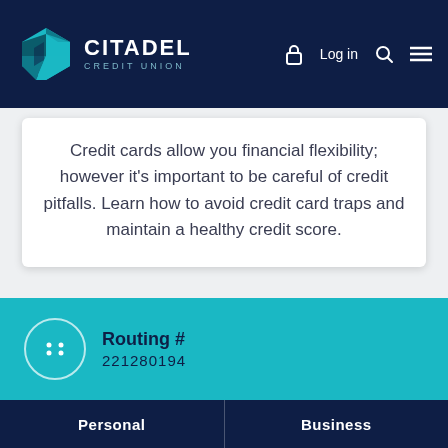CITADEL CREDIT UNION — Log in
Credit cards allow you financial flexibility; however it's important to be careful of credit pitfalls. Learn how to avoid credit card traps and maintain a healthy credit score.
Routing #
221280194
Personal | Business